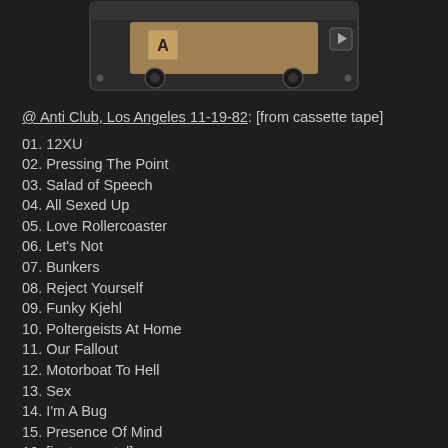[Figure (photo): Partial image of a cassette tape with side A label and a fast-forward button visible, dark background]
@ Anti Club, Los Angeles 11-19-82: [from cassette tape]
01. 12XU
02. Pressing The Point
03. Salad of Speech
04. All Sexed Up
05. Love Rollercoaster
06. Let's Not
07. Bunkers
08. Reject Yourself
09. Funky Kjehl
10. Poltergeists At Home
11. Our Fallout
12. Motorboat To Hell
13. Sex
14. I'm A Bug
15. Presence Of Mind
16. [instrumental]
17. Salmonella
18. Skin Club